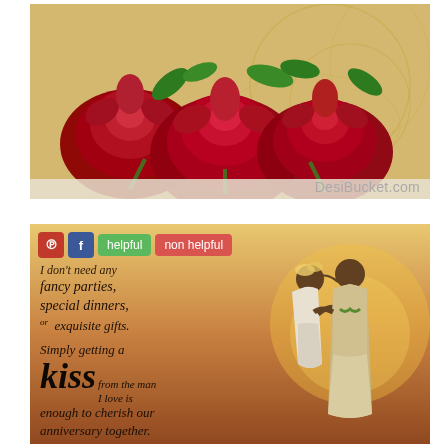[Figure (photo): Three red roses on a golden/beige decorative background with subtle swirl patterns]
DesiBucket.com
[Figure (photo): Anniversary greeting card with romantic couple silhouette at sunset, text reads: I don't need any fancy parties, special dinners, or exquisite gifts. Simply getting a kiss from the man I love is enough to cherish our anniversary together. Happy Anniversary]
helpful
non helpful